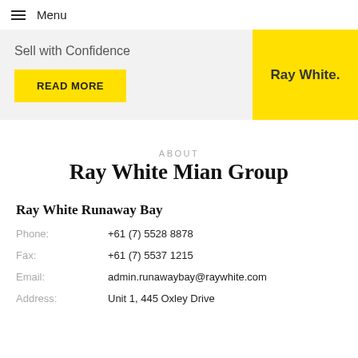Menu
[Figure (logo): Ray White logo on yellow background]
Sell with Confidence
READ MORE
ABOUT
Ray White Mian Group
Ray White Runaway Bay
| Phone: | +61 (7) 5528 8878 |
| Fax: | +61 (7) 5537 1215 |
| Email: | admin.runawaybay@raywhite.com |
| Address: | Unit 1, 445 Oxley Drive |